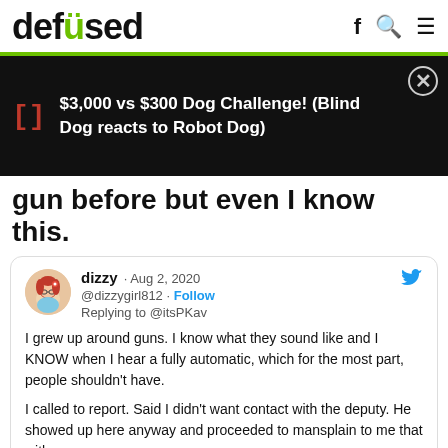defused
[Figure (screenshot): Ad banner: red bracket icon, text '$3,000 vs $300 Dog Challenge! (Blind Dog reacts to Robot Dog)' on black background with close button]
gun before but even I know this.
dizzy · Aug 2, 2020 @dizzygirl812 · Follow Replying to @itsPKav
I grew up around guns. I know what they sound like and I KNOW when I hear a fully automatic, which for the most part, people shouldn't have.
I called to report. Said I didn't want contact with the deputy. He showed up here anyway and proceeded to mansplain to me that with a
dizzy